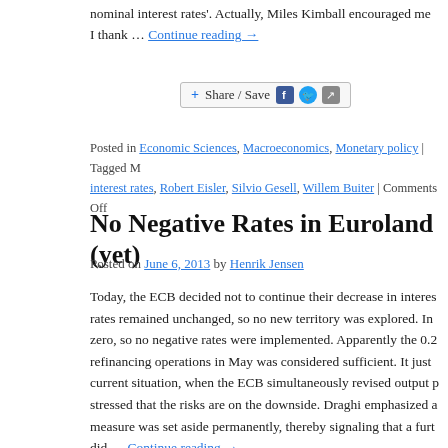nominal interest rates'. Actually, Miles Kimball encouraged me … I thank … Continue reading →
[Figure (other): Share / Save social sharing bar with Facebook, Twitter, and share icons]
Posted in Economic Sciences, Macroeconomics, Monetary policy | Tagged M… interest rates, Robert Eisler, Silvio Gesell, Willem Buiter | Comments Off
No Negative Rates in Euroland (yet)
Posted on June 6, 2013 by Henrik Jensen
Today, the ECB decided not to continue their decrease in interes… rates remained unchanged, so no new territory was explored. In… zero, so no negative rates were implemented. Apparently the 0.2… refinancing operations in May was considered sufficient. It just… current situation, when the ECB simultaneously revised output p… stressed that the risks are on the downside. Draghi emphasized a… measure was set aside permanently, thereby signaling that a furt… did … Continue reading →